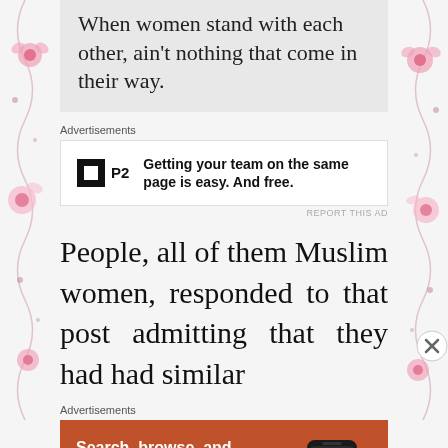When women stand with each other, ain't nothing that come in their way.
Advertisements
[Figure (other): P2 advertisement banner: logo showing a black square with white inner square and 'P2' text, with bold text 'Getting your team on the same page is easy. And free.']
REPORT THIS AD
People, all of them Muslim women, responded to that post admitting that they had had similar
Advertisements
[Figure (other): DuckDuckGo advertisement: orange background with white text 'Search, browse, and email with more privacy. All in One Free App' button, and a phone image with DuckDuckGo logo and text 'DuckDuckGo.']
REPORT THIS AD